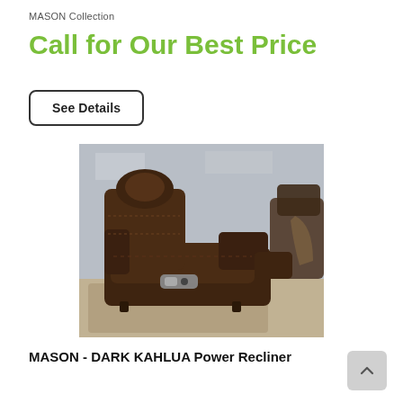MASON Collection
Call for Our Best Price
See Details
[Figure (photo): A dark brown leather power recliner chair shown from the side in a living room setting, with a second recliner partially visible in the background. The chair has a control panel on the side.]
MASON - DARK KAHLUA Power Recliner